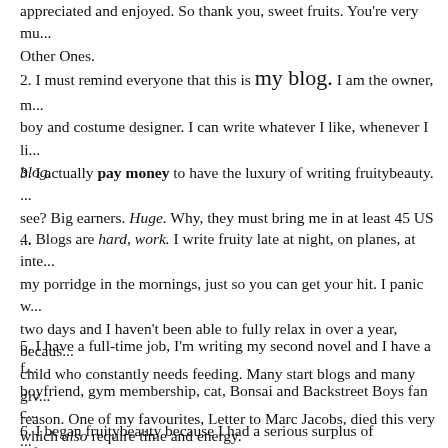appreciated and enjoyed. So thank you, sweet fruits. You're very mu... Other Ones.
2. I must remind everyone that this is my blog. I am the owner, m... boy and costume designer. I can write whatever I like, whenever I li... blog.
3. I actually pay money to have the luxury of writing fruitybeauty. ... see? Big earners. Huge. Why, they must bring me in at least 45 US ...
4. Blogs are hard, work. I write fruity late at night, on planes, at inte... my porridge in the mornings, just so you can get your hit. I panic w... two days and I haven't been able to fully relax in over a year, becaus... child who constantly needs feeding. Many start blogs and many giv... reason. One of my favourites, Letter to Marc Jacobs, died this very ...
5. I have a full-time job, I'm writing my second novel and I have a f... boyfriend, gym membership, cat, Bonsai and Backstreet Boys fan c... which also require time and energy.
6. I began fruitybeauty because I had a serious surplus of informatio...